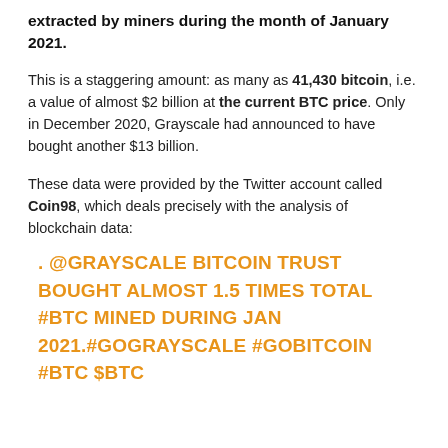extracted by miners during the month of January 2021.
This is a staggering amount: as many as 41,430 bitcoin, i.e. a value of almost $2 billion at the current BTC price. Only in December 2020, Grayscale had announced to have bought another $13 billion.
These data were provided by the Twitter account called Coin98, which deals precisely with the analysis of blockchain data:
. @GRAYSCALE BITCOIN TRUST BOUGHT ALMOST 1.5 TIMES TOTAL #BTC MINED DURING JAN 2021.#GOGRAYSCALE #GOBITCOIN #BTC $BTC